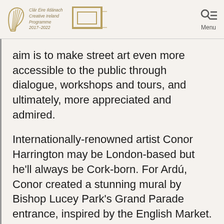Clár Éire Ildánach Creative Ireland Programme 2017–2022
aim is to make street art even more accessible to the public through dialogue, workshops and tours, and ultimately, more appreciated and admired.
Internationally-renowned artist Conor Harrington may be London-based but he'll always be Cork-born. For Ardú, Conor created a stunning mural by Bishop Lucey Park's Grand Parade entrance, inspired by the English Market.